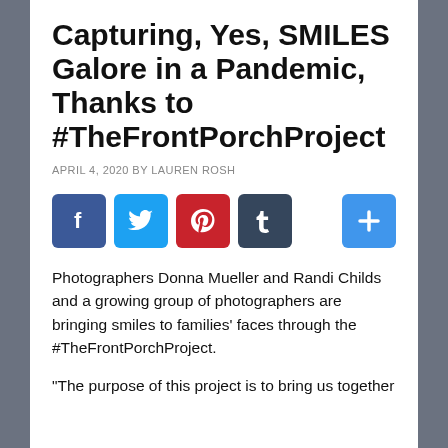Capturing, Yes, SMILES Galore in a Pandemic, Thanks to #TheFrontPorchProject
APRIL 4, 2020 BY LAUREN ROSH
[Figure (infographic): Social media share buttons: Facebook (blue), Twitter (light blue), Pinterest (red), Tumblr (dark blue/slate), and a Plus/More button (blue)]
Photographers Donna Mueller and Randi Childs and a growing group of photographers are bringing smiles to families' faces through the #TheFrontPorchProject.
“The purpose of this project is to bring us together